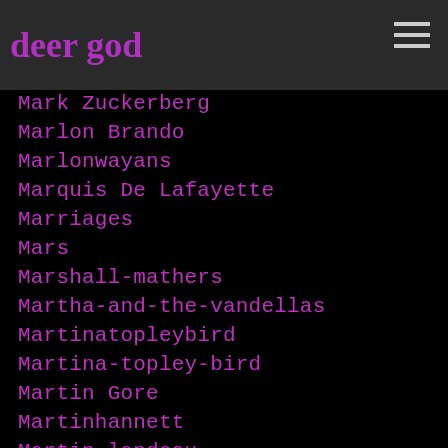deer god
Mark Zuckerberg
Marlon Brando
Marlonwayans
Marquis De Lafayette
Marriages
Mars
Marshall-mathers
Martha-and-the-vandellas
Martinatopleybird
Martina-topley-bird
Martin Gore
Martinhannett
Martin-landeau
Martin Rev
Martin Scorsese
Marty-feldman
Marty-friedman